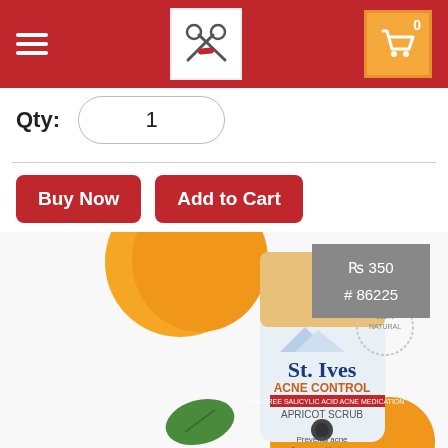Navigation header with menu, logo, and cart (0 items)
Qty: 1
Buy Now | Add to Cart
[Figure (photo): St. Ives Acne Control Apricot Scrub product tube with apricot imagery, 'New Look!' badge, '100% Natural' stamp, and text 'Prevents acne & evens skin tone']
₨ 350
# 86225